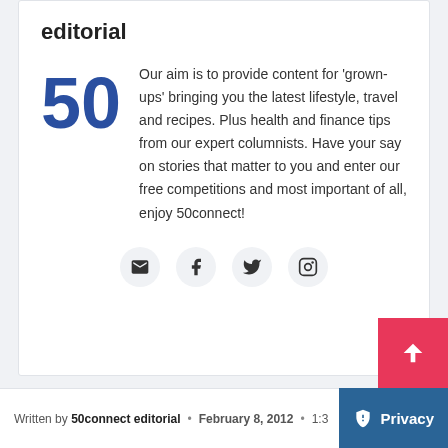editorial
Our aim is to provide content for 'grown-ups' bringing you the latest lifestyle, travel and recipes. Plus health and finance tips from our expert columnists. Have your say on stories that matter to you and enter our free competitions and most important of all, enjoy 50connect!
[Figure (infographic): Social media icons row: email/envelope, Facebook, Twitter/X, Instagram]
Written by 50connect editorial • February 8, 2012 • 1:3